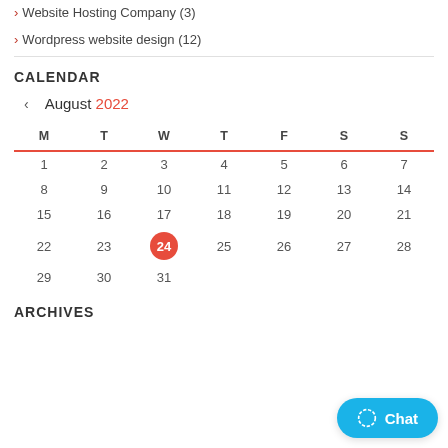> Website Hosting Company (3)
> Wordpress website design (12)
CALENDAR
| M | T | W | T | F | S | S |
| --- | --- | --- | --- | --- | --- | --- |
| 1 | 2 | 3 | 4 | 5 | 6 | 7 |
| 8 | 9 | 10 | 11 | 12 | 13 | 14 |
| 15 | 16 | 17 | 18 | 19 | 20 | 21 |
| 22 | 23 | 24 | 25 | 26 | 27 | 28 |
| 29 | 30 | 31 |  |  |  |  |
ARCHIVES